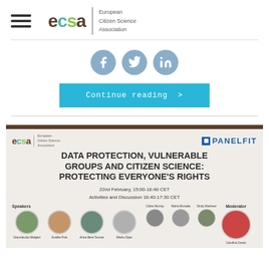[Figure (logo): ECSA - European Citizen Science Association logo with hamburger menu icon]
[Figure (infographic): Social media share icons: Facebook, Twitter, LinkedIn]
[Figure (other): Continue reading button in cyan/teal color]
[Figure (infographic): ECSA PANELFIT event flyer: DATA PROTECTION, VULNERABLE GROUPS AND CITIZEN SCIENCE: PROTECTING EVERYONE'S RIGHTS. 22nd February, 15:00-16:40 CET. Activities and Discussion 16:40-17:30 CET. Speakers: Gianclaudio Malgieri, Aurélie Pols, Anna Berti Suman, Marko Sijan, Claire Murray, Maha Muniafa, Sindy Martinez. Moderator: Carolina Doran.]